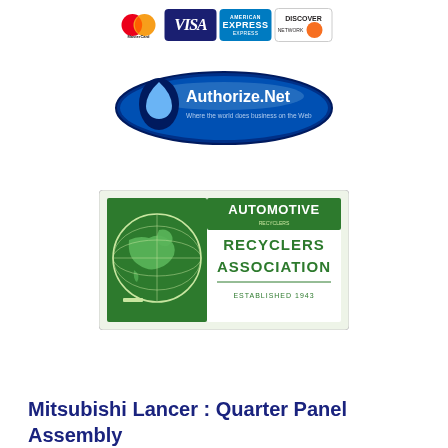[Figure (logo): Credit card logos: MasterCard, VISA, American Express, Discover]
[Figure (logo): Authorize.Net logo - Where the world does business on the Web]
[Figure (logo): Automotive Recyclers Association - Established 1943]
Mitsubishi Lancer : Quarter Panel Assembly